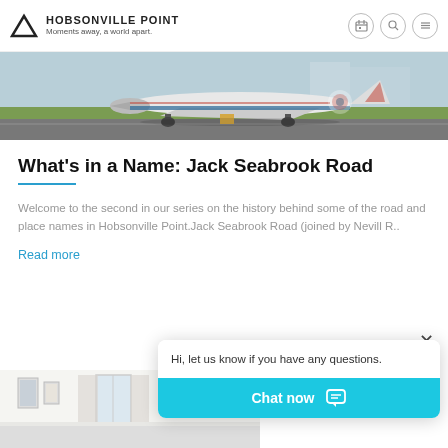Hobsonville Point — Moments away, a world apart.
[Figure (photo): Airplane on runway tarmac, side view showing landing gear and fuselage with blue and red markings, grass verge visible, grey asphalt road surface]
What's in a Name: Jack Seabrook Road
Welcome to the second in our series on the history behind some of the road and place names in Hobsonville Point.Jack Seabrook Road (joined by Nevill R..
Read more
[Figure (screenshot): Chat widget popup: message bubble saying 'Hi, let us know if you have any questions.' with a teal 'Chat now' button at the bottom containing a chat icon]
[Figure (photo): Interior room view showing white walls, artwork on wall, window with curtains — partially visible at bottom of page]